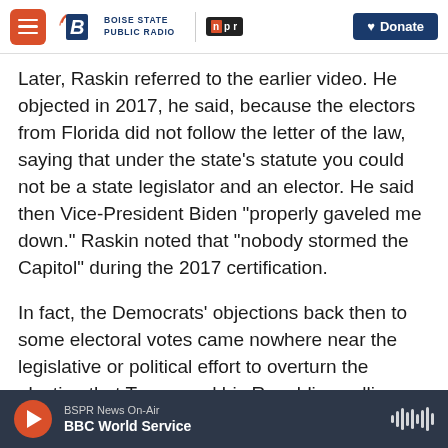Boise State Public Radio | NPR | Donate
Later, Raskin referred to the earlier video. He objected in 2017, he said, because the electors from Florida did not follow the letter of the law, saying that under the state's statute you could not be a state legislator and an elector. He said then Vice-President Biden "properly gaveled me down." Raskin noted that "nobody stormed the Capitol" during the 2017 certification.
In fact, the Democrats' objections back then to some electoral votes came nowhere near the legislative or political effort to overturn the election that Trump and his Republican allies staged around
BSPR News On-Air | BBC World Service